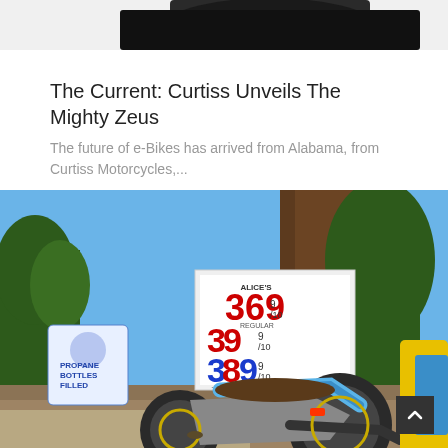[Figure (photo): Partial view of a motorcycle (top portion cut off), dark colored]
The Current: Curtiss Unveils The Mighty Zeus
The future of e-Bikes has arrived from Alabama, from Curtiss Motorcycles,...
[Figure (photo): A blue and silver electric motorcycle parked near a gas station price sign showing 369, 379, 389 prices for gasoline, with large redwood trees in the background and another yellow motorcycle partially visible on the right. Sunny day.]